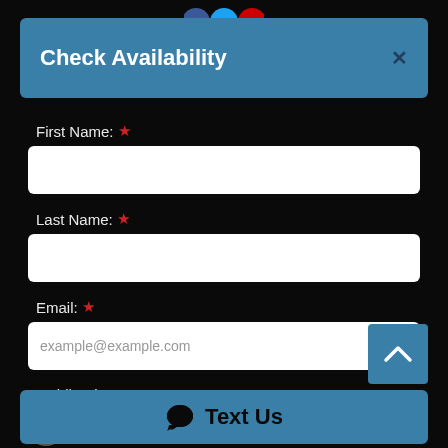[Figure (screenshot): Social media icon buttons (Facebook, Twitter, YouTube) partially visible at top of page]
Check Availability
First Name: *
Last Name: *
Email: *
example@example.com
Mobile Phone:
Text Us